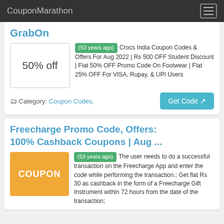CouponMarathon
GrabOn
(53 years ago) Crocs India Coupon Codes & Offers For Aug 2022 | Rs 500 OFF Student Discount | Flat 50% OFF Promo Code On Footwear | Flat 25% OFF For VISA, Rupay, & UPI Users
Category: Coupon Codes,
Freecharge Promo Code, Offers: 100% Cashback Coupons | Aug ...
(53 years ago) The user needs to do a successful transaction on the Freecharge App and enter the code while performing the transaction.; Get flat Rs 30 as cashback in the form of a Freecharge Gift Instrument within 72 hours from the date of the transaction;